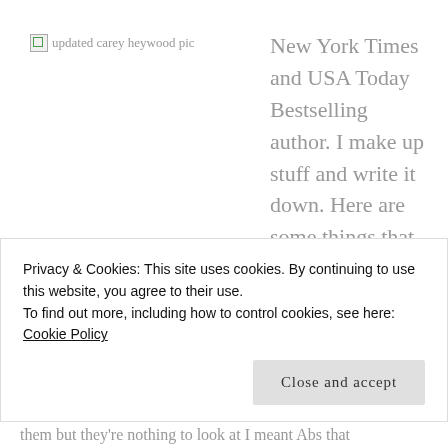[Figure (photo): Broken image placeholder labeled 'updated carey heywood pic']
New York Times and USA Today Bestselling author. I make up stuff and write it down. Here are some things that make up who I am, in no particular order: Books, Swedish Fish, Pitbulls,
Privacy & Cookies: This site uses cookies. By continuing to use this website, you agree to their use.
To find out more, including how to control cookies, see here: Cookie Policy
Close and accept
them but they're nothing to look at I meant Abs that